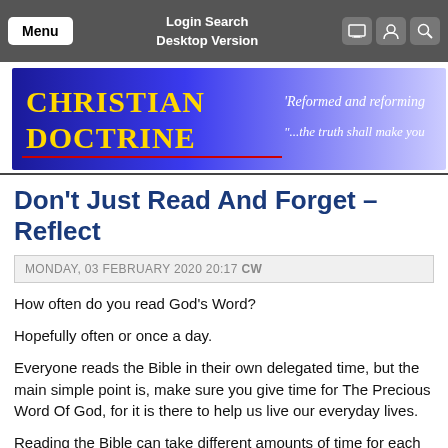Menu  Login Search  Desktop Version
[Figure (logo): Christian Doctrine website banner with blue/purple gradient background, yellow bold text 'CHRISTIAN DOCTRINE', and italic text 'Reformed and reforming' and '...the truth shall make you']
Don't Just Read And Forget – Reflect
MONDAY, 03 FEBRUARY 2020 20:17  CW
How often do you read God's Word?
Hopefully often or once a day.
Everyone reads the Bible in their own delegated time, but the main simple point is, make sure you give time for The Precious Word Of God, for it is there to help us live our everyday lives.
Reading the Bible can take different amounts of time for each reader. Depending on what book you read, or depending on how you learn